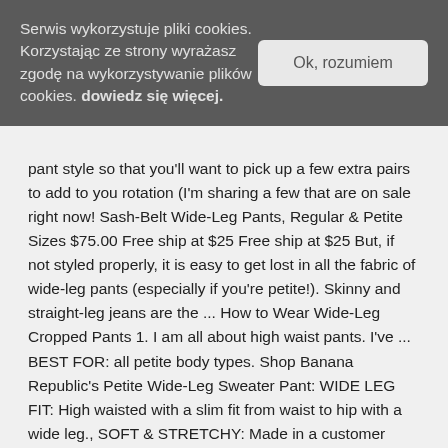Serwis wykorzystuje pliki cookies. Korzystając ze strony wyrażasz zgodę na wykorzystywanie plików cookies. dowiedz się więcej.
Ok, rozumiem
pant style so that you'll want to pick up a few extra pairs to add to you rotation (I'm sharing a few that are on sale right now! Sash-Belt Wide-Leg Pants, Regular & Petite Sizes $75.00 Free ship at $25 Free ship at $25 But, if not styled properly, it is easy to get lost in all the fabric of wide-leg pants (especially if you're petite!). Skinny and straight-leg jeans are the ... How to Wear Wide-Leg Cropped Pants 1. I am all about high waist pants. I've ... BEST FOR: all petite body types. Shop Banana Republic's Petite Wide-Leg Sweater Pant: WIDE LEG FIT: High waisted with a slim fit from waist to hip with a wide leg., SOFT & STRETCHY: Made in a customer favorite yarn that's also machine washable., ADJUSTABLE: Elastic waistband for a custom fit., Front pockets., Unlined. How To Wear The Wide-Leg Pants Trend If You're Petite Style Peal Tall You are To be